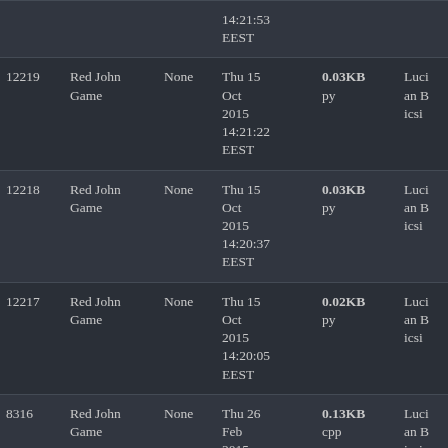| ID | Name | Lang | Date | Size | User | Status |
| --- | --- | --- | --- | --- | --- | --- |
|  |  |  | 14:21:53 EEST |  |  |  |
| 12219 | Red John Game | None | Thu 15 Oct 2015 14:21:22 EEST | 0.03KB py | Lucian Bicsi | Time Limit Exceed |
| 12218 | Red John Game | None | Thu 15 Oct 2015 14:20:37 EEST | 0.03KB py | Lucian Bicsi | Time Limit Exceed |
| 12217 | Red John Game | None | Thu 15 Oct 2015 14:20:05 EEST | 0.02KB py | Lucian Bicsi | Time Limit Exceed |
| 8316 | Red John Game | None | Thu 26 Feb 2015 | 0.13KB cpp | Lucian Bicsi | Wrong answer |